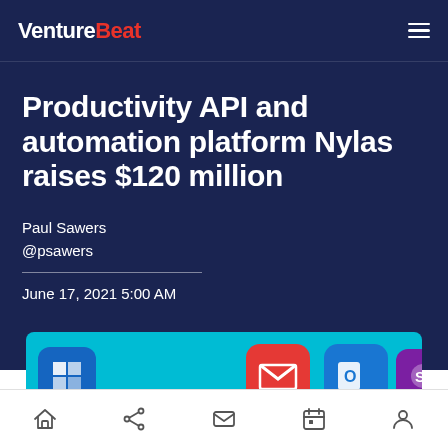VentureBeat
Productivity API and automation platform Nylas raises $120 million
Paul Sawers
@psawers
June 17, 2021 5:00 AM
[Figure (screenshot): App icons on teal/cyan background showing Microsoft, Gmail, Outlook, and another app icons]
Navigation bar with home, share, email, calendar, and profile icons